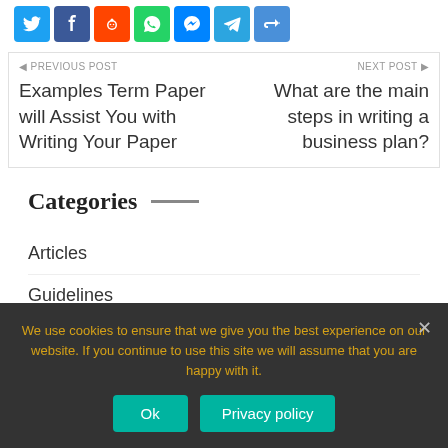[Figure (other): Social sharing icons: Twitter, Facebook, Reddit, WhatsApp, Messenger, Telegram, Share]
◀ PREVIOUS POST
Examples Term Paper will Assist You with Writing Your Paper
NEXT POST ▶
What are the main steps in writing a business plan?
Categories
Articles
Guidelines
We use cookies to ensure that we give you the best experience on our website. If you continue to use this site we will assume that you are happy with it.
Ok
Privacy policy